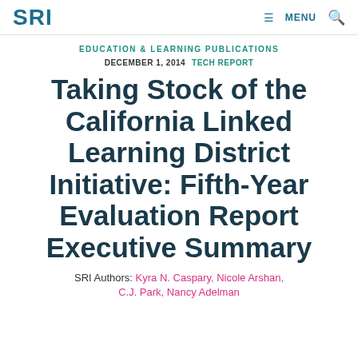SRI   ≡ MENU  🔍
EDUCATION & LEARNING PUBLICATIONS
DECEMBER 1, 2014   TECH REPORT
Taking Stock of the California Linked Learning District Initiative: Fifth-Year Evaluation Report Executive Summary
SRI Authors: Kyra N. Caspary, Nicole Arshan, C.J. Park, Nancy Adelman